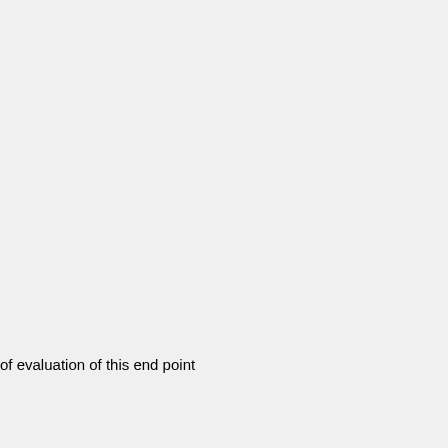- Time to next therapy for prostate cance
- Time to initiation of subsequent chemot
- Treatment duration of subsequent chen
•PFS (sulla base di progressione radiogr
•Tasso di risposta PSA. La risposta PSA secondo i criteri PCWG2. Per la conferm PSA ottenuta 4 o più settimane più tardi
•Tempo per la progressione PSA
•Tasso di risposta oggettiva
•Tempo trascorso prima dell'assunzione
•Tempo trascorso prima del deterioramen
•Numero di partecipanti con variazione n
•Numero di partecipanti con variazione n
•Numero di partecipanti con variazione n
•Sopravvivenza generale
•Tempo fino al successivo trattamento co
•Tempo fino alla successivo chemioterap
•Durata del trattamento della successiva
of evaluation of this end point
Up to 5 years after the start of study trea
Fino a 5 anni dopo l'inizio del trattamento